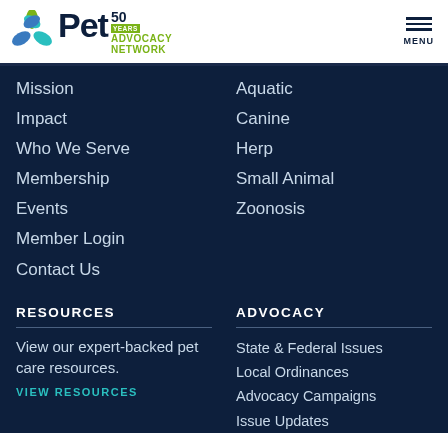[Figure (logo): Pet Advocacy Network logo with 50 Years badge and green leaf/paw icon]
Mission
Impact
Who We Serve
Membership
Events
Member Login
Contact Us
Aquatic
Canine
Herp
Small Animal
Zoonosis
RESOURCES
ADVOCACY
View our expert-backed pet care resources.
VIEW RESOURCES
State & Federal Issues
Local Ordinances
Advocacy Campaigns
Issue Updates